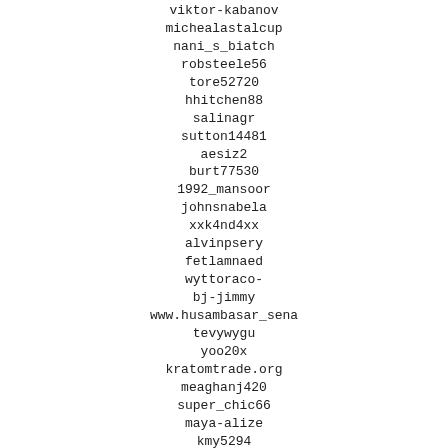viktor-kabanov
michealastalcup
nani_s_biatch
robsteele56
tore52720
hhitchen88
salinagr
sutton14481
aesiz2
burt77530
1992_mansoor
johnsnabela
xxk4nd4xx
alvinpsery
fetlamnaed
wyttoraco-bj-jimmy
www.husambasar_sena
tevywygu
yoo20x
kratomtrade.org
meaghanj420
super_chic66
maya-alize
kmy5294
waylen27044
koningjp
uptood8
deeann.lengerich
tizia74